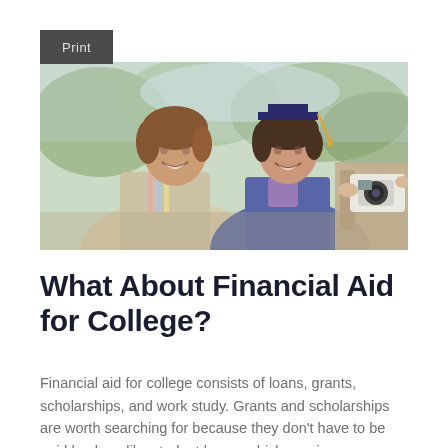Print
[Figure (photo): Two women smiling together outdoors — one wearing a blue graduation cap and gown, the other in casual clothes. A man in the foreground is photographing them with a camera.]
What About Financial Aid for College?
Financial aid for college consists of loans, grants, scholarships, and work study. Grants and scholarships are worth searching for because they don't have to be paid back, unlike student loans, which require an ongoing financial obligation, or work study, which requires a work commitment